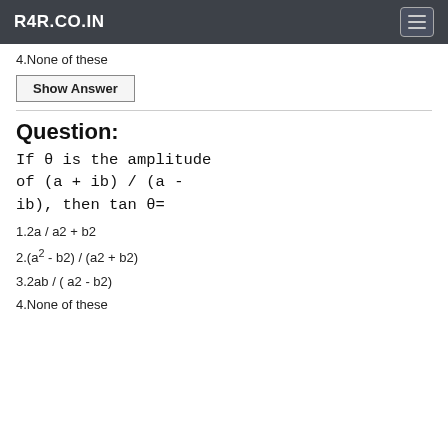R4R.CO.IN
4.None of these
Show Answer
Question:
If θ is the amplitude of (a + ib) / (a - ib), then tan θ=
1.2a / a2 + b2
2.(a² - b2) / (a2 + b2)
3.2ab / ( a2 - b2)
4.None of these